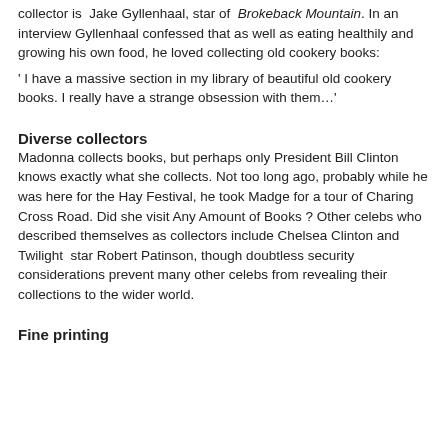collector is Jake Gyllenhaal, star of Brokeback Mountain. In an interview Gyllenhaal confessed that as well as eating healthily and growing his own food, he loved collecting old cookery books:
' I have a massive section in my library of beautiful old cookery books. I really have a strange obsession with them…'
Diverse collectors
Madonna collects books, but perhaps only President Bill Clinton knows exactly what she collects. Not too long ago, probably while he was here for the Hay Festival, he took Madge for a tour of Charing Cross Road. Did she visit Any Amount of Books ? Other celebs who described themselves as collectors include Chelsea Clinton and Twilight star Robert Patinson, though doubtless security considerations prevent many other celebs from revealing their collections to the wider world.
Fine printing